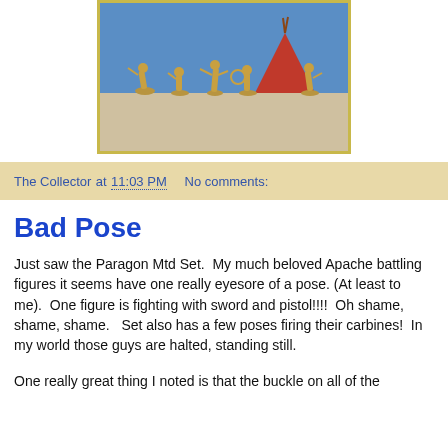[Figure (photo): Photo of tan/brown plastic Native American figurines posed in battle stances on a white surface, with a red teepee in the background and a blue backdrop.]
The Collector at 11:03 PM   No comments:
Bad Pose
Just saw the Paragon Mtd Set.  My much beloved Apache battling figures it seems have one really eyesore of a pose. (At least to me).  One figure is fighting with sword and pistol!!!!  Oh shame, shame, shame.   Set also has a few poses firing their carbines!  In my world those guys are halted, standing still.
One really great thing I noted is that the buckle on all of the